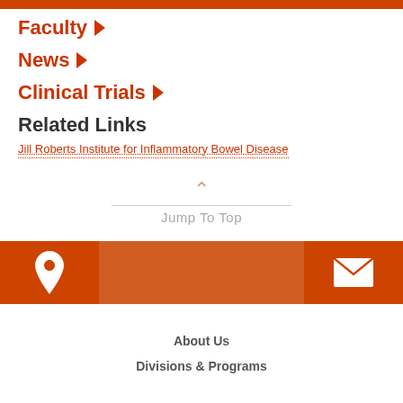Faculty ▶
News ▶
Clinical Trials ▶
Related Links
Jill Roberts Institute for Inflammatory Bowel Disease
Jump To Top
About Us
Divisions & Programs